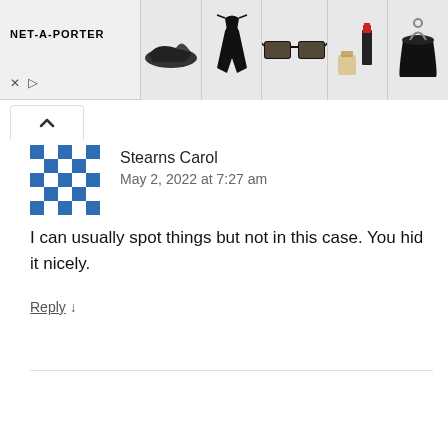[Figure (screenshot): NET-A-PORTER advertisement banner showing logo on left and 5 fashion product images (sneaker, black swimsuit, sunglasses, lipstick with perfume, black bucket bag) on right]
[Figure (illustration): Blue and white checkerboard pattern avatar/profile icon for user Stearns Carol]
Stearns Carol
May 2, 2022 at 7:27 am
I can usually spot things but not in this case. You hid it nicely.
Reply ↓